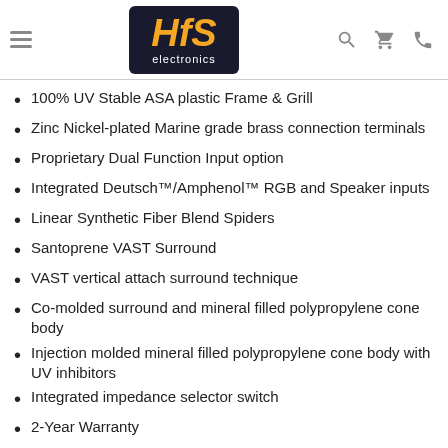[Figure (logo): HFS Electronics logo — orange italic HFS letters on dark navy background with 'electronics' text below]
100% UV Stable ASA plastic Frame & Grill
Zinc Nickel-plated Marine grade brass connection terminals
Proprietary Dual Function Input option
Integrated Deutsch™/Amphenol™ RGB and Speaker inputs
Linear Synthetic Fiber Blend Spiders
Santoprene VAST Surround
VAST vertical attach surround technique
Co-molded surround and mineral filled polypropylene cone body
Injection molded mineral filled polypropylene cone body with UV inhibitors
Integrated impedance selector switch
2-Year Warranty